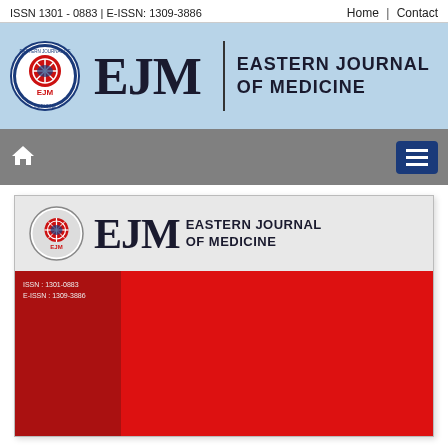ISSN 1301 - 0883 | E-ISSN: 1309-3886
Home | Contact
[Figure (logo): Eastern Journal of Medicine (EJM) website header banner with circular logo, large EJM text, vertical divider, and journal name 'EASTERN JOURNAL OF MEDICINE' on light blue background]
[Figure (screenshot): EJM journal cover image showing the journal logo, EJM letters, journal name in header on gray background, and red lower section with ISSN numbers in sidebar]